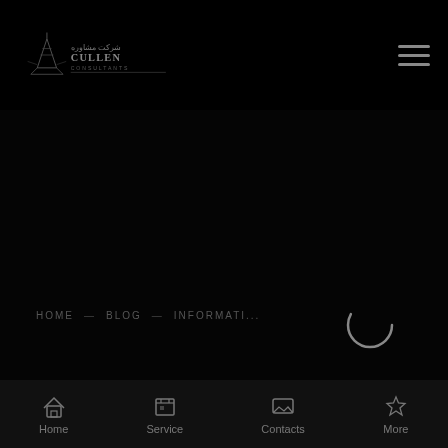[Figure (logo): Website logo with stylized text and architectural/decorative icon on black background]
HOME  BLOG  INFORMATI...
Brand new Principles of Relationships in
Home  Service  Contacts  More